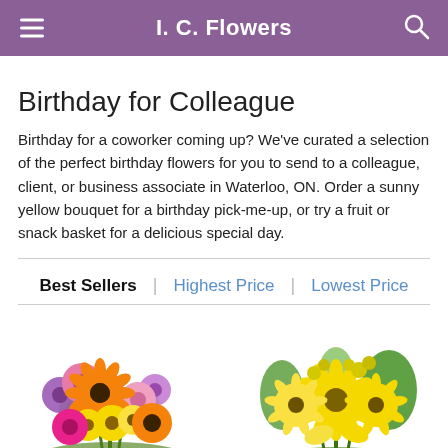I. C. Flowers
Birthday for Colleague
Birthday for a coworker coming up? We've curated a selection of the perfect birthday flowers for you to send to a colleague, client, or business associate in Waterloo, ON. Order a sunny yellow bouquet for a birthday pick-me-up, or try a fruit or snack basket for a delicious special day.
Best Sellers | Highest Price | Lowest Price
[Figure (photo): Colorful mixed flower bouquet with orange, pink, yellow, and purple flowers including gerbera daisies]
[Figure (photo): Yellow flower bouquet with daisies, lilies, and greenery]